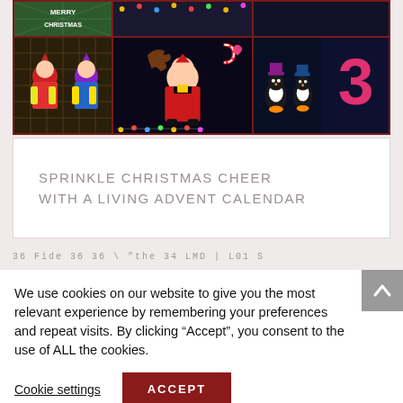[Figure (photo): A collage of Christmas window displays showing: a 'Merry Christmas' sign with diamond lattice pattern, colorful elf/character figures, a Santa Claus figure with lights, penguins, and a large number 3, all framed with a dark red/maroon border.]
SPRINKLE CHRISTMAS CHEER WITH A LIVING ADVENT CALENDAR
We use cookies on our website to give you the most relevant experience by remembering your preferences and repeat visits. By clicking “Accept”, you consent to the use of ALL the cookies.
Cookie settings
ACCEPT